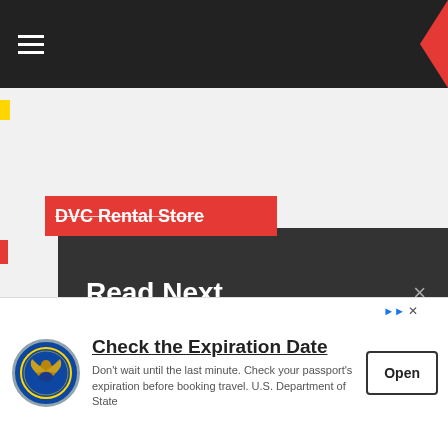≡ (hamburger menu navigation bar)
DVC Rental Store
Read Next  ×
[Figure (photo): Scene from Jedi Training Trials of the Temple with dark costumed figures and trees]
Jedi Training: Trials of the Temple
October 4, 2018  0
[Figure (illustration): Chip n Dale Park Life animated cartoon banner]
“Chip n Dale: Park Life” Coming to Disney+ in July
[Figure (logo): U.S. Department of State seal logo]
Check the Expiration Date
Don’t wait until the last minute. Check your passport’s expiration before booking travel. U.S. Department of State